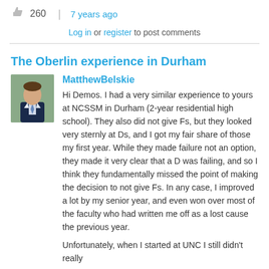260  |  7 years ago
Log in or register to post comments
The Oberlin experience in Durham
MatthewBelskie
Hi Demos.  I had a very similar experience to yours at NCSSM in Durham (2-year residential high school).  They also did not give Fs, but they looked very sternly at Ds, and I got my fair share of those my first year.  While they made failure not an option, they made it very clear that a D was failing, and so I think they fundamentally missed the point of making the decision to not give Fs.  In any case, I improved a lot by my senior year, and even won over most of the faculty who had written me off as a lost cause the previous year.
Unfortunately, when I started at UNC I still didn't really